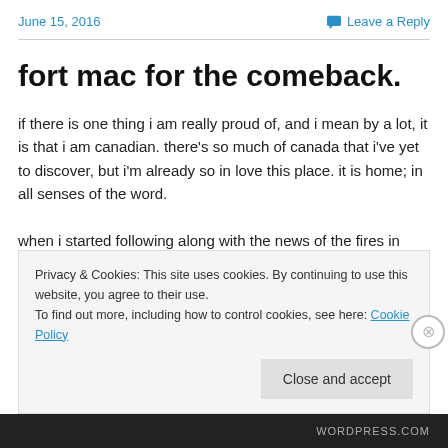June 15, 2016    Leave a Reply
fort mac for the comeback.
if there is one thing i am really proud of, and i mean by a lot, it is that i am canadian. there’s so much of canada that i’ve yet to discover, but i’m already so in love this place. it is home; in all senses of the word.
when i started following along with the news of the fires in
Privacy & Cookies: This site uses cookies. By continuing to use this website, you agree to their use.
To find out more, including how to control cookies, see here: Cookie Policy